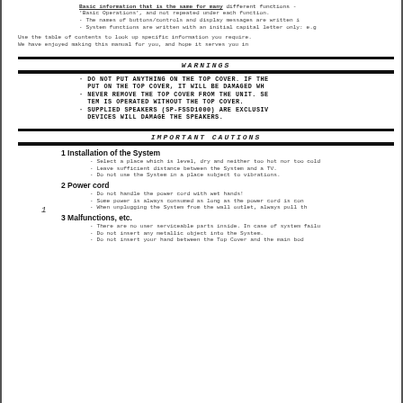Basic information that is the same for many different functions - 'Basic Operations', and not repeated under each function. · The names of buttons/controls and display messages are written in · System functions are written with an initial capital letter only: e.g
Use the table of contents to look up specific information you require.
We have enjoyed making this manual for you, and hope it serves you in
WARNINGS
· DO NOT PUT ANYTHING ON THE TOP COVER. IF THE PUT ON THE TOP COVER, IT WILL BE DAMAGED WH
· NEVER REMOVE THE TOP COVER FROM THE UNIT. SE TEM IS OPERATED WITHOUT THE TOP COVER.
· SUPPLIED SPEAKERS (SP-FSSD1000) ARE EXCLUSIV DEVICES WILL DAMAGE THE SPEAKERS.
IMPORTANT CAUTIONS
1  Installation of the System
· Select a place which is level, dry and neither too hot nor too cold
· Leave sufficient distance between the System and a TV.
· Do not use the System in a place subject to vibrations.
2  Power cord
· Do not handle the power cord with wet hands!
· Some power is always consumed as long as the power cord is con
· When unplugging the System from the wall outlet, always pull th
3  Malfunctions, etc.
· There are no user serviceable parts inside. In case of system failu
· Do not insert any metallic object into the System.
· Do not insert your hand between the Top Cover and the main bod
1